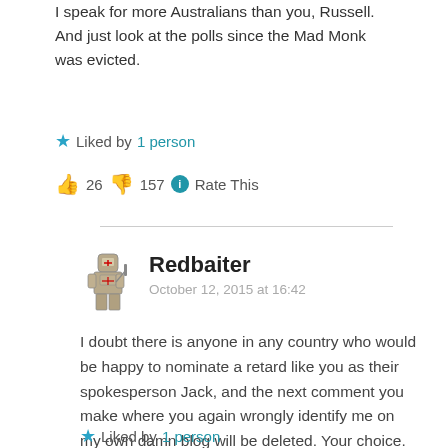I speak for more Australians than you, Russell. And just look at the polls since the Mad Monk was evicted.
★ Liked by 1 person
👍 26 👎 157 ℹ Rate This
Redbaiter
October 12, 2015 at 16:42
I doubt there is anyone in any country who would be happy to nominate a retard like you as their spokesperson Jack, and the next comment you make where you again wrongly identify me on my own damn blog will be deleted. Your choice.
★ Liked by 1 person